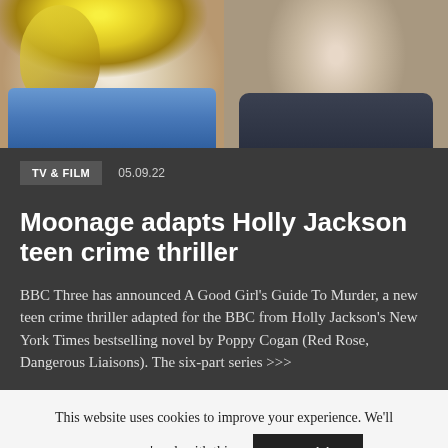[Figure (photo): Two headshot photos side by side: left shows a person with blonde hair wearing a denim jacket, right shows a person in a dark grey V-neck shirt against a grey background.]
TV & FILM   05.09.22
Moonage adapts Holly Jackson teen crime thriller
BBC Three has announced A Good Girl's Guide To Murder, a new teen crime thriller adapted for the BBC from Holly Jackson's New York Times bestselling novel by Poppy Cogan (Red Rose, Dangerous Liaisons). The six-part series >>>
This website uses cookies to improve your experience. We'll assume you're ok with this.
I've read this